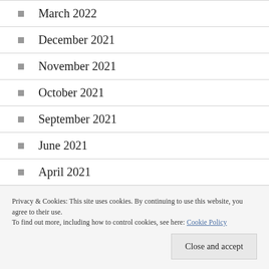March 2022
December 2021
November 2021
October 2021
September 2021
June 2021
April 2021
Privacy & Cookies: This site uses cookies. By continuing to use this website, you agree to their use.
To find out more, including how to control cookies, see here: Cookie Policy
Close and accept